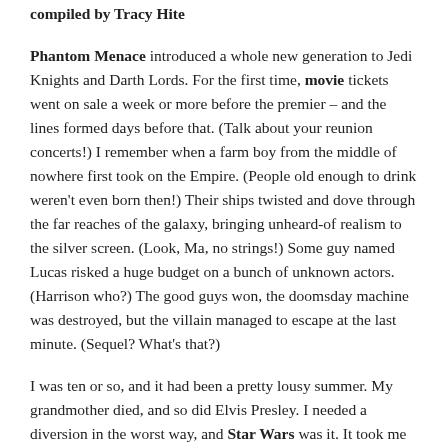compiled by Tracy Hite
Phantom Menace introduced a whole new generation to Jedi Knights and Darth Lords. For the first time, movie tickets went on sale a week or more before the premier – and the lines formed days before that. (Talk about your reunion concerts!) I remember when a farm boy from the middle of nowhere first took on the Empire. (People old enough to drink weren't even born then!) Their ships twisted and dove through the far reaches of the galaxy, bringing unheard-of realism to the silver screen. (Look, Ma, no strings!) Some guy named Lucas risked a huge budget on a bunch of unknown actors. (Harrison who?) The good guys won, the doomsday machine was destroyed, but the villain managed to escape at the last minute. (Sequel? What's that?)
I was ten or so, and it had been a pretty lousy summer. My grandmother died, and so did Elvis Presley. I needed a diversion in the worst way, and Star Wars was it. It took me